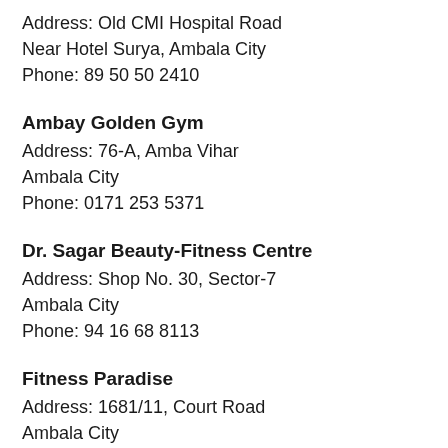Address: Old CMI Hospital Road
Near Hotel Surya, Ambala City
Phone: 89 50 50 2410
Ambay Golden Gym
Address: 76-A, Amba Vihar
Ambala City
Phone: 0171 253 5371
Dr. Sagar Beauty-Fitness Centre
Address: Shop No. 30, Sector-7
Ambala City
Phone: 94 16 68 8113
Fitness Paradise
Address: 1681/11, Court Road
Ambala City